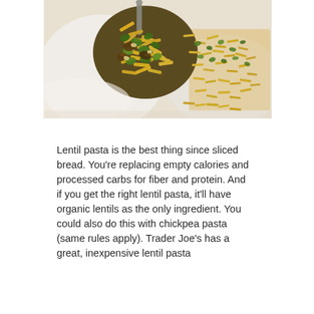[Figure (photo): Close-up photo of lentil pasta being lifted on a fork or spoon, showing yellow/golden pasta pieces mixed with green herbs (kale or parsley) and other ingredients, with a bowl of the pasta dish visible in the background to the right.]
Lentil pasta is the best thing since sliced bread. You're replacing empty calories and processed carbs for fiber and protein. And if you get the right lentil pasta, it'll have organic lentils as the only ingredient. You could also do this with chickpea pasta (same rules apply). Trader Joe's has a great, inexpensive lentil pasta